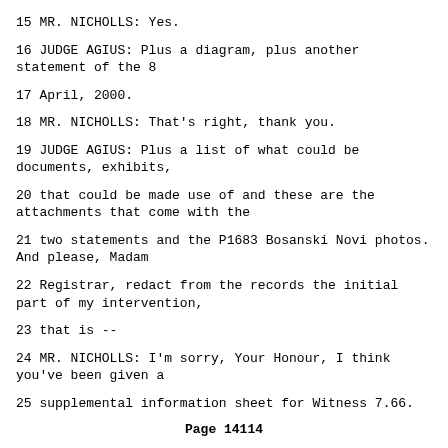15 MR. NICHOLLS: Yes.
16 JUDGE AGIUS: Plus a diagram, plus another statement of the 8
17 April, 2000.
18 MR. NICHOLLS: That's right, thank you.
19 JUDGE AGIUS: Plus a list of what could be documents, exhibits,
20 that could be made use of and these are the attachments that come with the
21 two statements and the P1683 Bosanski Novi photos. And please, Madam
22 Registrar, redact from the records the initial part of my intervention,
23 that is --
24 MR. NICHOLLS: I'm sorry, Your Honour, I think you've been given a
25 supplemental information sheet for Witness 7.66.
Page 14114
1 JUDGE AGIUS: Yes, but I'm going to refer, but before